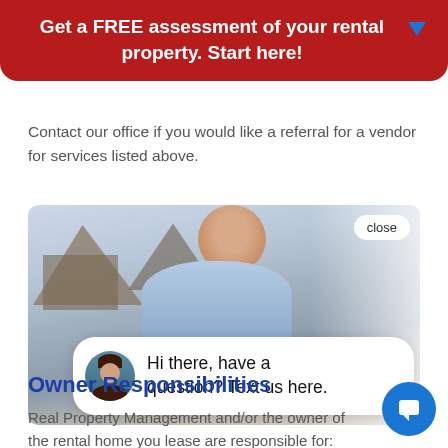Get a FREE assessment of your rental property. Start here!
Contact our office if you would like a referral for a vendor for services listed above.
[Figure (photo): A smiling man in a light blue shirt standing in front of a brick house with a chat overlay bubble saying 'Hi there, have a question? Text us here.' with a close button and a female avatar.]
Owner Responsibilities
Real Property Management and/or the owner of the rental home you lease are responsible for: